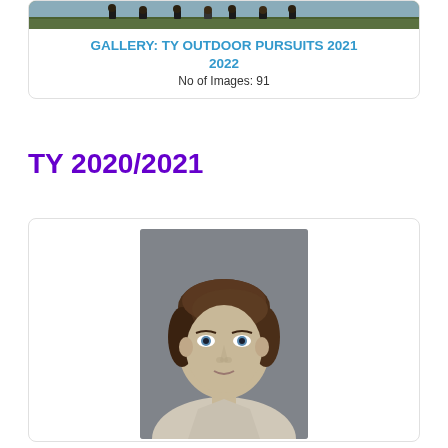[Figure (photo): Outdoor group photo strip showing people standing outdoors with grass/greenery visible]
GALLERY: TY OUTDOOR PURSUITS 2021 2022
No of Images: 91
TY 2020/2021
[Figure (photo): Portrait headshot of a young man with brown hair and blue eyes against a gray studio background]